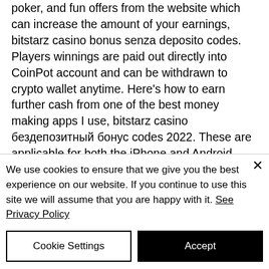poker, and fun offers from the website which can increase the amount of your earnings, bitstarz casino bonus senza deposito codes. Players winnings are paid out directly into CoinPot account and can be withdrawn to crypto wallet anytime. Here's how to earn further cash from one of the best money making apps I use, bitstarz casino бездепозитный бонус codes 2022. These are applicable for both the iPhone and Android smartphone. I've submitted ones on the few sites that still maintain a page as if they're still active faucet games but most say it's processed and never do or just spit out
We use cookies to ensure that we give you the best experience on our website. If you continue to use this site we will assume that you are happy with it. See Privacy Policy
Cookie Settings
Accept